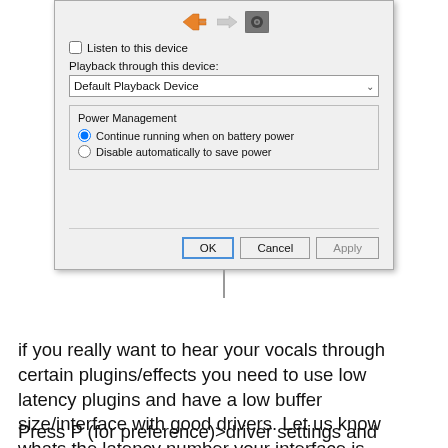[Figure (screenshot): Windows dialog box showing audio device settings with icons for plug/arrow/speaker, a 'Listen to this device' checkbox, a 'Playback through this device: Default Playback Device' dropdown, a 'Power Management' group with radio buttons for 'Continue running when on battery power' and 'Disable automatically to save power', blank space, and OK/Cancel/Apply buttons at the bottom.]
if you really want to hear your vocals through certain plugins/effects you need to use low latency plugins and have a low buffer size/interface with good drivers. Let us know whats the latency number your interface is currently reporting.
Press P (for preference)>driver settings and check the round trip latency value